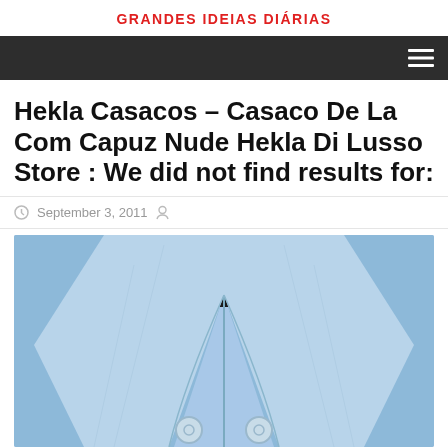GRANDES IDEIAS DIÁRIAS
Hekla Casacos – Casaco De La Com Capuz Nude Hekla Di Lusso Store : We did not find results for:
September 3, 2011
[Figure (photo): Close-up photo of a person wearing a light blue hooded coat with large lapels and buttons, black turtleneck underneath]